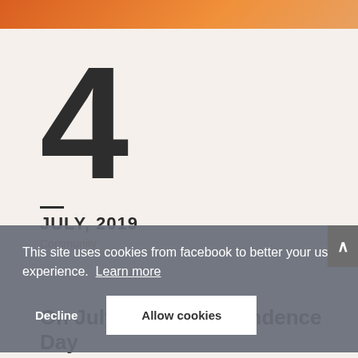4
JULY, 2019
Community
On July 4, the Independence Day
This site uses cookies from facebook to better your user experience. Learn more